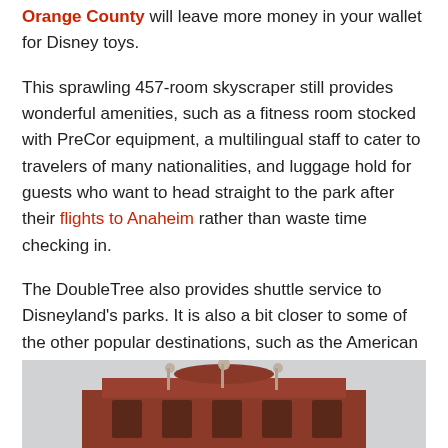Orange County will leave more money in your wallet for Disney toys.
This sprawling 457-room skyscraper still provides wonderful amenities, such as a fitness room stocked with PreCor equipment, a multilingual staff to cater to travelers of many nationalities, and luggage hold for guests who want to head straight to the park after their flights to Anaheim rather than waste time checking in.
The DoubleTree also provides shuttle service to Disneyland's parks. It is also a bit closer to some of the other popular destinations, such as the American College of Law and UC Irvine Medical Center. Don't forget that there are ample Southern California beaches in the area if you don't intend to spend all your time at amusement parks.
[Figure (photo): Partial photo of a red brick building with ornate architectural details at the top, including decorative finials and a curved roofline, set against a light grey sky.]